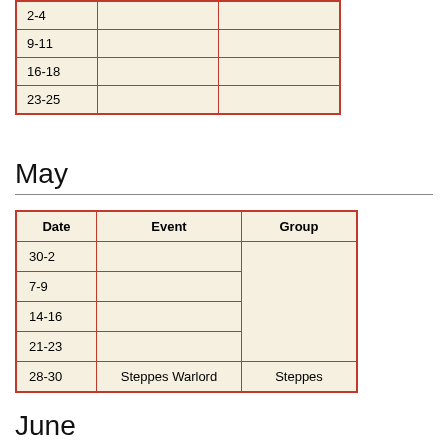|  |  |  |
| --- | --- | --- |
| 2-4 |  |  |
| 9-11 |  |  |
| 16-18 |  |  |
| 23-25 |  |  |
May
| Date | Event | Group |
| --- | --- | --- |
| 30-2 |  |  |
| 7-9 |  |  |
| 14-16 |  |  |
| 21-23 |  |  |
| 28-30 | Steppes Warlord | Steppes |
June